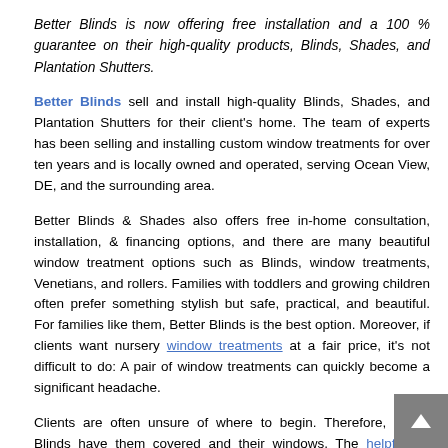Better Blinds is now offering free installation and a 100 % guarantee on their high-quality products, Blinds, Shades, and Plantation Shutters.
Better Blinds sell and install high-quality Blinds, Shades, and Plantation Shutters for their client's home. The team of experts has been selling and installing custom window treatments for over ten years and is locally owned and operated, serving Ocean View, DE, and the surrounding area.
Better Blinds & Shades also offers free in-home consultation, installation, & financing options, and there are many beautiful window treatment options such as Blinds, window treatments, Venetians, and rollers. Families with toddlers and growing children often prefer something stylish but safe, practical, and beautiful. For families like them, Better Blinds is the best option. Moreover, if clients want nursery window treatments at a fair price, it's not difficult to do: A pair of window treatments can quickly become a significant headache.
Clients are often unsure of where to begin. Therefore, Better Blinds have them covered and their windows. The helpful list contains the dos and don'ts for nursery windows. Clients with small children need to avoid Floor-Length Draperies. The window treatments may serve some exciting purposes if the toddler can reach them. People don't want their children to